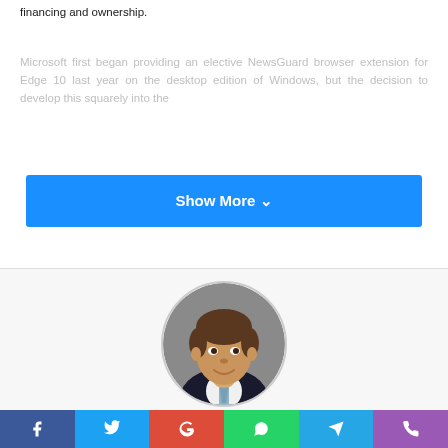financing and ownership.
Microsoft first began providing an elective NewsGuard browser extension for Edge 10 last year on the desktop edition of Windows, but the decision to develop this squarely into the
[Figure (other): Show More button with blue background and chevron icon]
[Figure (photo): Circular profile photo of Samuel Lucas, a man in a dark suit with a light blue tie, against a grey background]
Samuel Lucas
[Figure (infographic): Social sharing bar with Facebook, Twitter, Google, WhatsApp, Telegram, and phone icons]